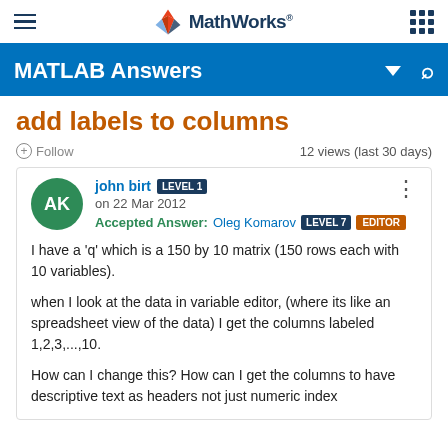MathWorks — MATLAB Answers
add labels to columns
Follow   12 views (last 30 days)
john birt LEVEL 1 on 22 Mar 2012
Accepted Answer: Oleg Komarov LEVEL 7 EDITOR
I have a 'q' which is a 150 by 10 matrix (150 rows each with 10 variables).
when I look at the data in variable editor, (where its like an spreadsheet view of the data) I get the columns labeled 1,2,3,...,10.
How can I change this? How can I get the columns to have descriptive text as headers not just numeric index